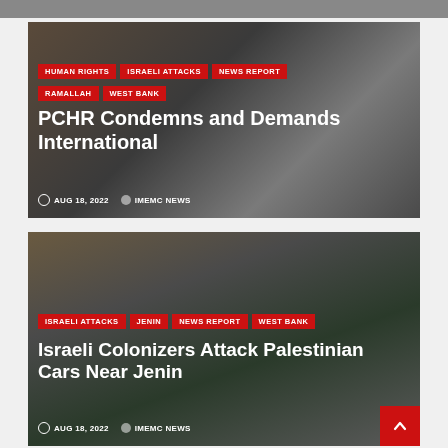[Figure (photo): News article card 1: dark interior photo with article overlaid. Tags: HUMAN RIGHTS, ISRAELI ATTACKS, NEWS REPORT, RAMALLAH, WEST BANK. Title: PCHR Condemns and Demands International. Date: AUG 18, 2022. Author: IMEMC NEWS.]
PCHR Condemns and Demands International
AUG 18, 2022   IMEMC NEWS
[Figure (photo): News article card 2: photo of smashed car windshield. Tags: ISRAELI ATTACKS, JENIN, NEWS REPORT, WEST BANK. Title: Israeli Colonizers Attack Palestinian Cars Near Jenin. Date: AUG 18, 2022. Author: IMEMC NEWS.]
Israeli Colonizers Attack Palestinian Cars Near Jenin
AUG 18, 2022   IMEMC NEWS